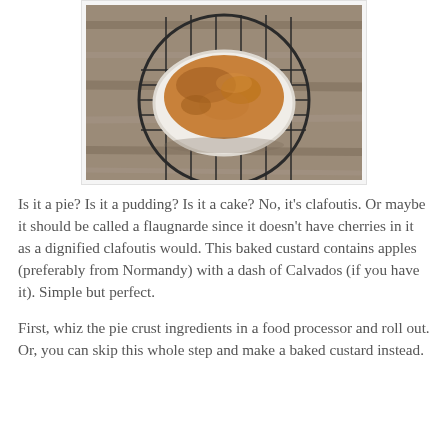[Figure (photo): A baked custard (clafoutis/flaugnarde) in a white oval ramekin, placed on a round black wire cooling rack on a wooden surface.]
Is it a pie? Is it a pudding? Is it a cake? No, it's clafoutis. Or maybe it should be called a flaugnarde since it doesn't have cherries in it as a dignified clafoutis would. This baked custard contains apples (preferably from Normandy) with a dash of Calvados (if you have it). Simple but perfect.
First, whiz the pie crust ingredients in a food processor and roll out. Or, you can skip this whole step and make a baked custard instead.